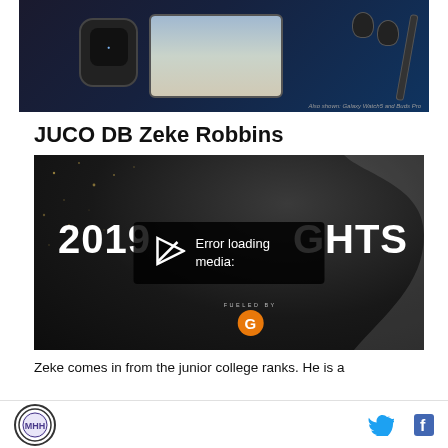[Figure (photo): Advertisement banner showing Samsung Galaxy Watch5 and Buds Pro devices on dark background with tablet displaying maps]
Also shown: Galaxy Watch5 and Buds Pro
JUCO DB Zeke Robbins
[Figure (screenshot): Video player showing 2019 highlights with error loading media overlay. Dark background with gold dots, year 2019, partial text GHTS visible, Gatorade logo at bottom. Error overlay reads: Error loading media:]
Zeke comes in from the junior college ranks. He is a